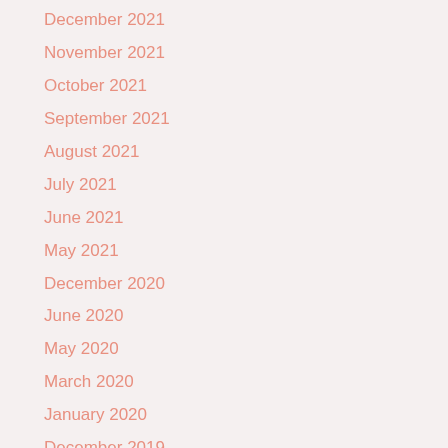December 2021
November 2021
October 2021
September 2021
August 2021
July 2021
June 2021
May 2021
December 2020
June 2020
May 2020
March 2020
January 2020
December 2019
October 2019
September 2019